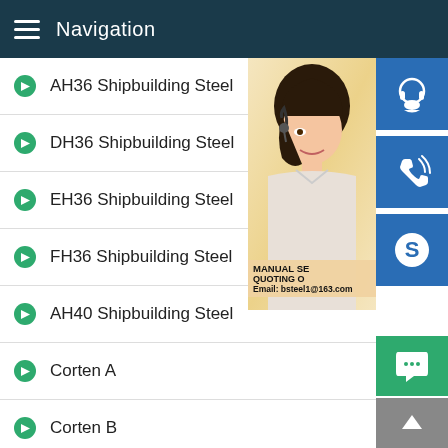Navigation
AH36 Shipbuilding Steel
DH36 Shipbuilding Steel
EH36 Shipbuilding Steel
FH36 Shipbuilding Steel
AH40 Shipbuilding Steel
Corten A
Corten B
A588Grade B
SA588Grade B
S355J0WP
S355J2WP
[Figure (screenshot): Customer service representative photo with contact icons (headset, phone, Skype) and text: MANUAL SE... QUOTING O... Email: bsteel1@163.com, plus green chat bubble and grey up-arrow button]